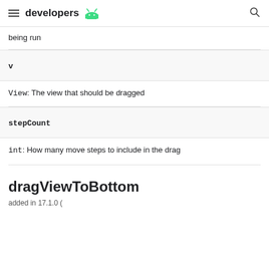developers (Android logo)
being run
v
View: The view that should be dragged
stepCount
int: How many move steps to include in the drag
dragViewToBottom
added in 17.1.0 (